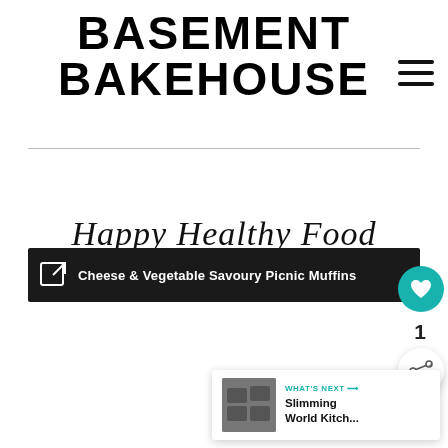BASEMENT BAKEHOUSE
Happy Healthy Food
Cheese & Vegetable Savoury Picnic Muffins
1
[Figure (infographic): What's Next panel with thumbnail image and text: WHAT'S NEXT → Slimming World Kitch...]